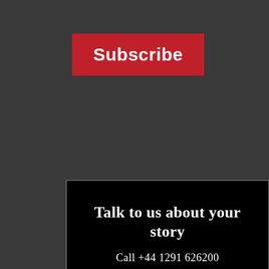Subscribe
Talk to us about your story
Call +44 1291 626200
purpose@wearecohesive.com
[Figure (illustration): Three social media icons in white circles: LinkedIn, Twitter, and Instagram]